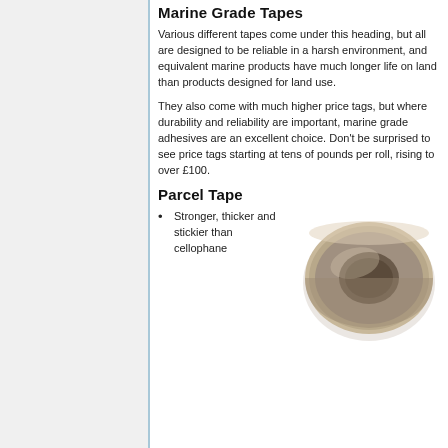Marine Grade Tapes
Various different tapes come under this heading, but all are designed to be reliable in a harsh environment, and equivalent marine products have much longer life on land than products designed for land use.
They also come with much higher price tags, but where durability and reliability are important, marine grade adhesives are an excellent choice. Don't be surprised to see price tags starting at tens of pounds per roll, rising to over £100.
Parcel Tape
Stronger, thicker and stickier than cellophane
[Figure (photo): A roll of brown/grey parcel tape viewed from above at a slight angle, showing the circular roll shape.]